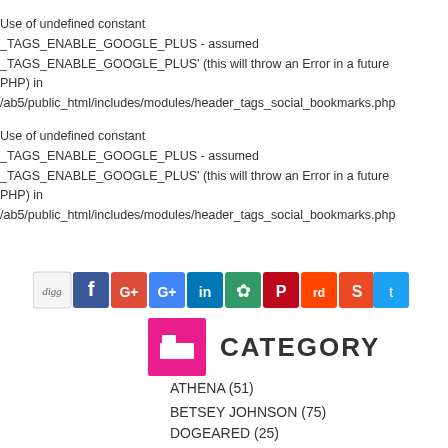Use of undefined constant _TAGS_ENABLE_GOOGLE_PLUS - assumed '_TAGS_ENABLE_GOOGLE_PLUS' (this will throw an Error in a future PHP) in /ab5/public_html/includes/modules/header_tags_social_bookmarks.php
Use of undefined constant _TAGS_ENABLE_GOOGLE_PLUS - assumed '_TAGS_ENABLE_GOOGLE_PLUS' (this will throw an Error in a future PHP) in /ab5/public_html/includes/modules/header_tags_social_bookmarks.php
[Figure (infographic): Social sharing icon bar: digg, Facebook, Google+, Google+, LinkedIn, ShareThis, Pinterest, Reddit, StumbleUpon, Twitter]
CATEGORY
ATHENA (51)
BETSEY JOHNSON (75)
DOGEARED (25)
ELIZABETH COLE (0)